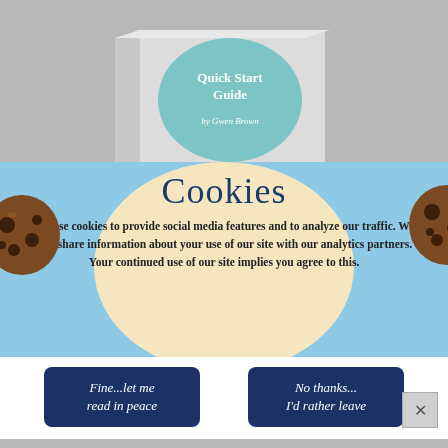[Figure (illustration): Book mockup with teal badge showing 'Quick Start Guide by Gwen Brown' on a gray background]
Cookies
We use cookies to provide social media features and to analyze our traffic. We also share information about your use of our site with our analytics partners. Your continued use of our site implies you agree to this.
Fine...let me read in peace
No thanks... I'd rather leave